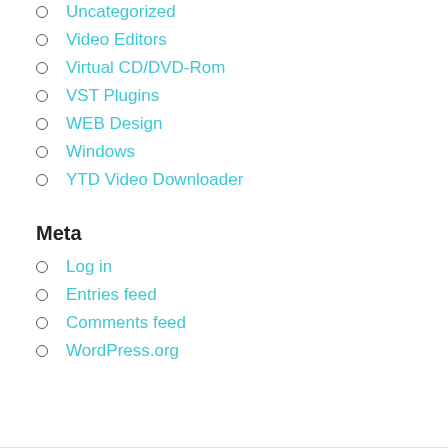Uncategorized
Video Editors
Virtual CD/DVD-Rom
VST Plugins
WEB Design
Windows
YTD Video Downloader
Meta
Log in
Entries feed
Comments feed
WordPress.org